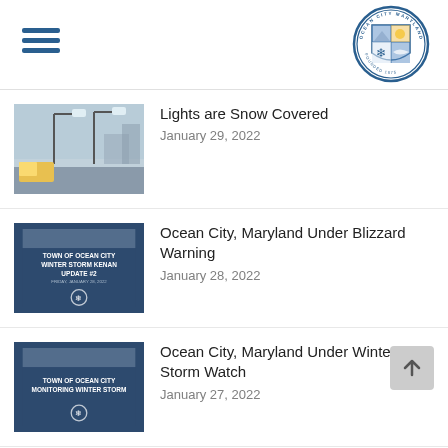[Figure (logo): Ocean City Maryland town seal/logo in top right corner]
Lights are Snow Covered — January 29, 2022
Ocean City, Maryland Under Blizzard Warning — January 28, 2022
Ocean City, Maryland Under Winter Storm Watch — January 27, 2022
Ocean City Under Tropical Storm — (date truncated)